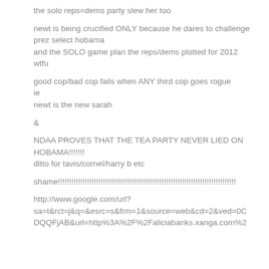the solo reps=dems party slew her too
newt is being crucified ONLY because he dares to challenge prez select hobama
and the SOLO game plan the reps/dems plotted for 2012
wtfu
good cop/bad cop fails when ANY third cop goes rogue
ie
newt is the new sarah
&
NDAA PROVES THAT THE TEA PARTY NEVER LIED ON HOBAMA!!!!!!!
ditto for tavis/cornel/harry b etc
shame!!!!!!!!!!!!!!!!!!!!!!!!!!!!!!!!!!!!!!!!!!!!!!!!!!!!!!!!!!!!!!!!!!!!!!!!!!!!!!!
http://www.google.com/url?sa=t&rct=j&q=&esrc=s&frm=1&source=web&cd=2&ved=0CDQQFjAB&url=http%3A%2F%2Faliciabanks.xanga.com%2